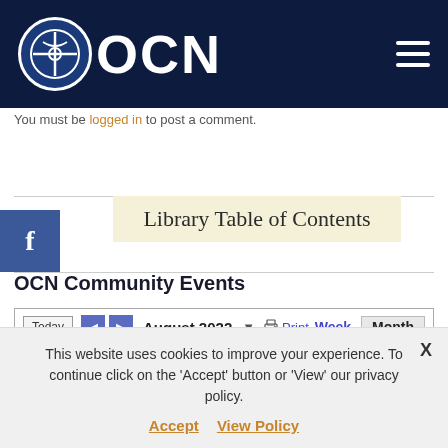OCN
You must be logged in to post a comment.
Library Table of Contents
OCN Community Events
[Figure (screenshot): Calendar widget showing August 2022 with navigation buttons (Today, back, forward), Print link, Week and Month view options, and day headers: Sun, Mon, Tue, Wed, Thu, Fri, Sat]
This website uses cookies to improve your experience. To continue click on the 'Accept' button or 'View' our privacy policy. Accept  View Policy